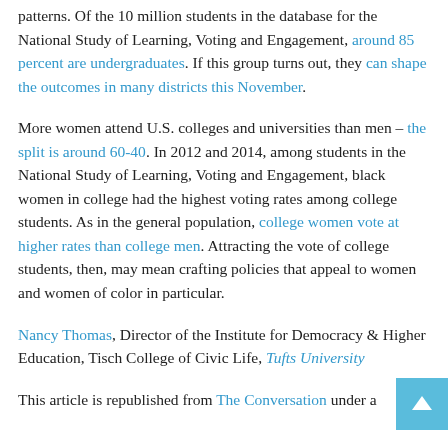patterns. Of the 10 million students in the database for the National Study of Learning, Voting and Engagement, around 85 percent are undergraduates. If this group turns out, they can shape the outcomes in many districts this November.
More women attend U.S. colleges and universities than men – the split is around 60-40. In 2012 and 2014, among students in the National Study of Learning, Voting and Engagement, black women in college had the highest voting rates among college students. As in the general population, college women vote at higher rates than college men. Attracting the vote of college students, then, may mean crafting policies that appeal to women and women of color in particular.
Nancy Thomas, Director of the Institute for Democracy & Higher Education, Tisch College of Civic Life, Tufts University
This article is republished from The Conversation under a